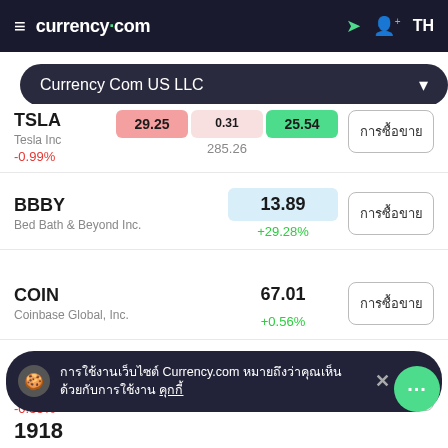currency.com TH
Currency Com US LLC
| Ticker | Price | Change | Action |
| --- | --- | --- | --- |
| TSLA / Tesla Inc | 285.26 | -0.99% | การซื้อขาย |
| BBBY / Bed Bath & Beyond Inc. | 13.89 | +29.28% | การซื้อขาย |
| COIN / Coinbase Global, Inc. | 67.01 | +0.56% | การซื้อขาย |
| AAPL / Apple Inc. | 161.48 | -0.85% | การซื้อขาย |
| 1918 |  |  | การซื้อขาย |
การใช้งานเว็บไซต์ Currency.com หมายถึงว่าคุณเห็นด้วยกับการใช้งาน คุกกี้